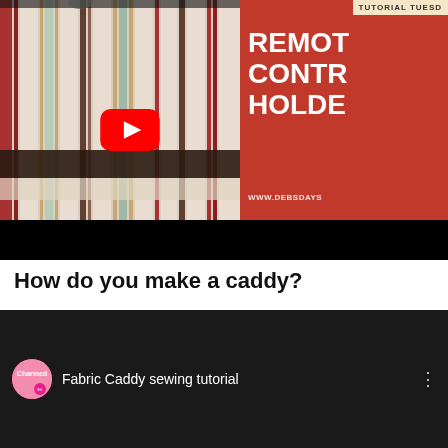[Figure (screenshot): YouTube video thumbnail showing a fabric remote control holder/caddy with striped fabric on the left side and red background with white bold text reading 'REMOTE CONTROL HOLDER' on the right side, with a YouTube play button overlay and 'TUTORIAL TUESDAY' banner and 'WWW.DEBSDAYS' website text]
How do you make a caddy?
[Figure (screenshot): YouTube video listing row showing a circular channel icon with pink/magenta color and 'Charmed' text, followed by video title 'Fabric Caddy sewing tutorial' and three-dot menu icon, all on dark background]